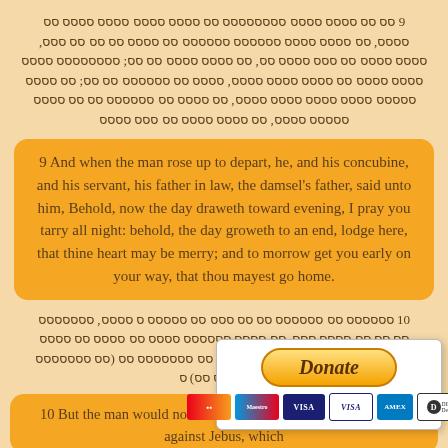9 [Hebrew text - verse 9 in Hebrew script]
9 And when the man rose up to depart, he, and his concubine, and his servant, his father in law, the damsel's father, said unto him, Behold, now the day draweth toward evening, I pray you tarry all night: behold, the day groweth to an end, lodge here, that thine heart may be merry; and to morrow get you early on your way, that thou mayest go home.
10 [Hebrew text - verse 10 in Hebrew script]
10 But the man would not tar... up and departed, and came over against Jebus, which...
[Figure (other): Donate button with PayPal-style donate button and payment card icons (Mastercard, Maestro, VISA, VISA, Amex, Direct Debit)]